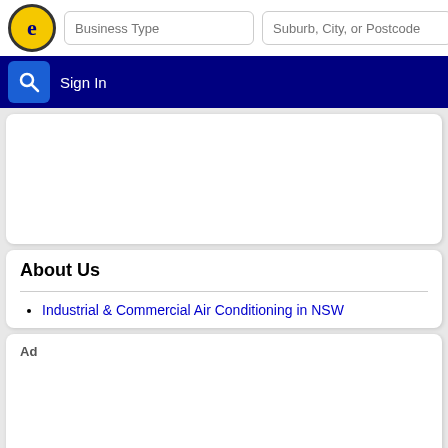Business Type | Suburb, City, or Postcode | Sign In
[Figure (screenshot): White content card area (blank advertisement or content block)]
About Us
Industrial & Commercial Air Conditioning in NSW
Ad